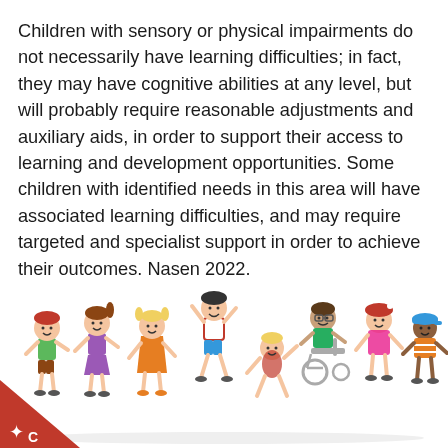Children with sensory or physical impairments do not necessarily have learning difficulties; in fact, they may have cognitive abilities at any level, but will probably require reasonable adjustments and auxiliary aids, in order to support their access to learning and development opportunities. Some children with identified needs in this area will have associated learning difficulties, and may require targeted and specialist support in order to achieve their outcomes. Nasen 2022.
[Figure (illustration): Cartoon illustration of diverse children playing and dancing, including a child in a wheelchair. A red triangle with a star and letter C appears in the bottom-left corner.]